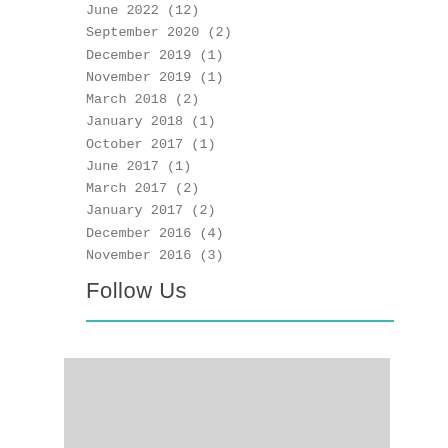June 2022 (12)
September 2020 (2)
December 2019 (1)
November 2019 (1)
March 2018 (2)
January 2018 (1)
October 2017 (1)
June 2017 (1)
March 2017 (2)
January 2017 (2)
December 2016 (4)
November 2016 (3)
Follow Us
[Figure (other): Gray placeholder image block at bottom of page]